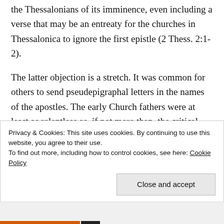the Thessalonians of its imminence, even including a verse that may be an entreaty for the churches in Thessalonica to ignore the first epistle (2 Thess. 2:1-2).
The latter objection is a stretch. It was common for others to send pseudepigraphal letters in the names of the apostles. The early Church fathers were at least as relentless as, if not more than, the critical scholars of the 19th and 20th century in their efforts to snuff out
Privacy & Cookies: This site uses cookies. By continuing to use this website, you agree to their use.
To find out more, including how to control cookies, see here: Cookie Policy